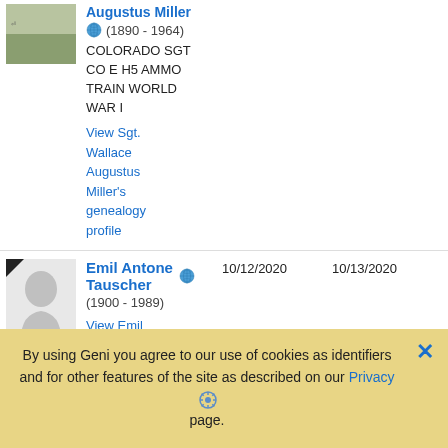[Figure (photo): Gravestone thumbnail photo for Wallace Augustus Miller]
Augustus Miller
(1890 - 1964)
COLORADO SGT CO E H5 AMMO TRAIN WORLD WAR I
View Sgt. Wallace Augustus Miller's genealogy profile
[Figure (photo): Silhouette avatar for Emil Antone Tauscher]
Emil Antone Tauscher
(1900 - 1989)
View Emil Antone Tauscher's genealogy profile
10/12/2020
10/13/2020
By using Geni you agree to our use of cookies as identifiers and for other features of the site as described on our Privacy page.